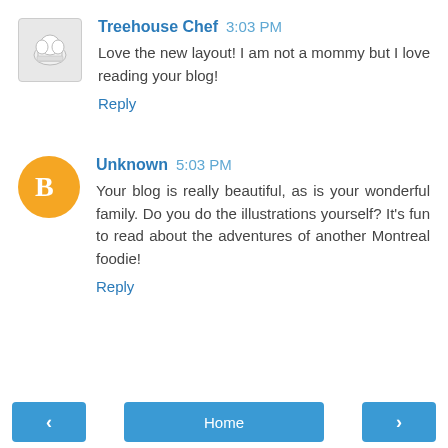[Figure (illustration): Chef avatar: small square image with chef hat illustration, light gray background]
Treehouse Chef 3:03 PM
Love the new layout! I am not a mommy but I love reading your blog!
Reply
[Figure (illustration): Blogger 'B' icon: orange circle with white B letter]
Unknown 5:03 PM
Your blog is really beautiful, as is your wonderful family. Do you do the illustrations yourself? It's fun to read about the adventures of another Montreal foodie!
Reply
< Home >